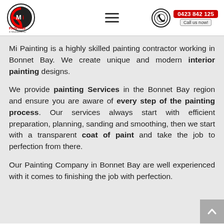Mi Painting & Maintenance | 0423 842 125 | Call us now!
Mi Painting is a highly skilled painting contractor working in Bonnet Bay. We create unique and modern interior painting designs.
We provide painting Services in the Bonnet Bay region and ensure you are aware of every step of the painting process. Our services always start with efficient preparation, planning, sanding and smoothing, then we start with a transparent coat of paint and take the job to perfection from there.
Our Painting Company in Bonnet Bay are well experienced with it comes to finishing the job with perfection.